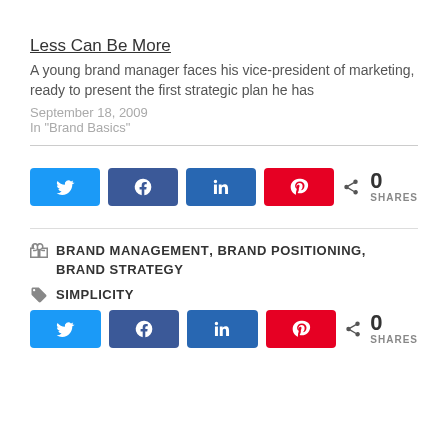Less Can Be More
A young brand manager faces his vice-president of marketing, ready to present the first strategic plan he has
September 18, 2009
In "Brand Basics"
[Figure (other): Social share buttons: Twitter, Facebook, LinkedIn, Pinterest, with 0 SHARES count]
BRAND MANAGEMENT, BRAND POSITIONING, BRAND STRATEGY
SIMPLICITY
[Figure (other): Social share buttons: Twitter, Facebook, LinkedIn, Pinterest, with 0 SHARES count]